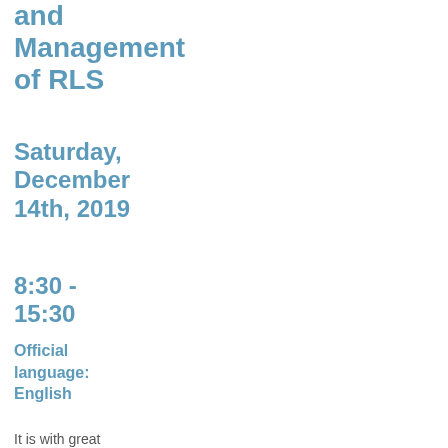and Management of RLS
Saturday, December 14th, 2019
8:30 - 15:30
Official language: English
European RLS Course
Program RLS Course
Faculty
Symposia & Meetings
Related links
Login / Logoff
Imprint
It is with great